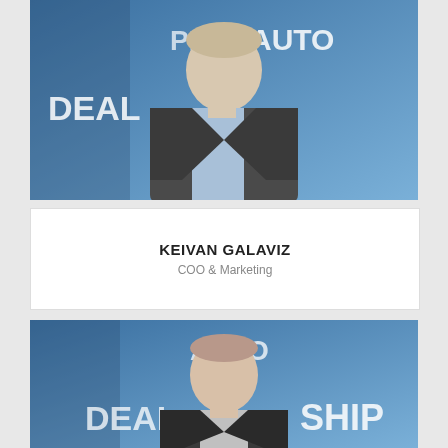[Figure (photo): Photo of Keivan Galaviz in a suit jacket and light blue shirt, standing in front of a blue 'Pro Auto Dealership' backdrop]
KEIVAN GALAVIZ
COO & Marketing
[Figure (photo): Photo of a younger man in a dark suit, standing in front of the same blue 'Pro Auto Dealership' backdrop]